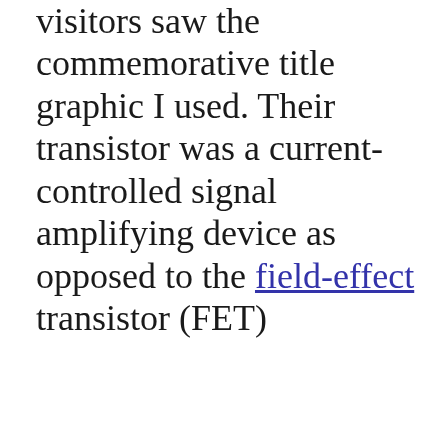visitors saw the commemorative title graphic I used. Their transistor was a current-controlled signal amplifying device as opposed to the field-effect transistor (FET)